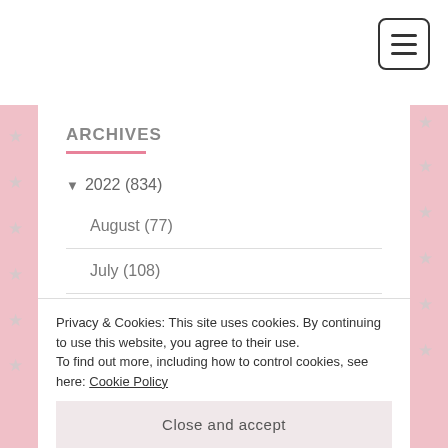ARCHIVES
▼ 2022 (834)
August (77)
July (108)
June (110)
May (113)
Privacy & Cookies: This site uses cookies. By continuing to use this website, you agree to their use.
To find out more, including how to control cookies, see here: Cookie Policy
Close and accept
January (110)